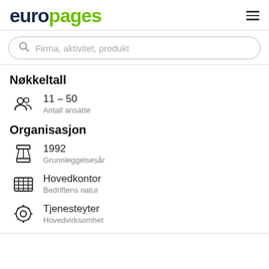europages
Firma, aktivitet, produkt
Nøkkeltall
11 – 50
Antall ansatte
Organisasjon
1992
Grunnleggelsesår
Hovedkontor
Bedriftens natur
Tjenesteyter
Hovedvirksomhet